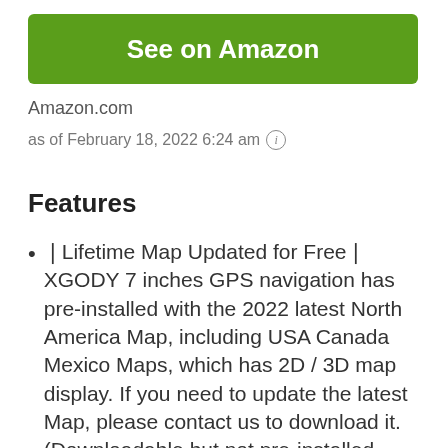[Figure (other): Green 'See on Amazon' button]
Amazon.com
as of February 18, 2022 6:24 am ℹ
Features
🔲Lifetime Map Updated for Free🔲 XGODY 7 inches GPS navigation has pre-installed with the 2022 latest North America Map, including USA Canada Mexico Maps, which has 2D / 3D map display. If you need to update the latest Map, please contact us to download it. (Downloadable but not pre-installed maps: Europe, UK, Ireland, Australia, and so on)